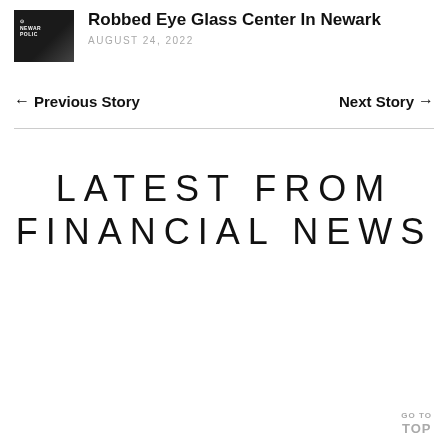[Figure (photo): Newark Police vehicle thumbnail image]
Robbed Eye Glass Center In Newark
AUGUST 24, 2022
← Previous Story
Next Story →
LATEST FROM FINANCIAL NEWS
GO TO TOP